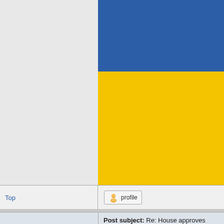[Figure (other): Forum post content area showing a large blue banner at top and yellow/gold area below, partially cropped]
Top
[Figure (other): Profile button with user icon]
BakeSaleRevenge
Post subject: Re: House approves overhaul of wiretap laws  Posted: Sat Jun 21, 2008 3:07 am